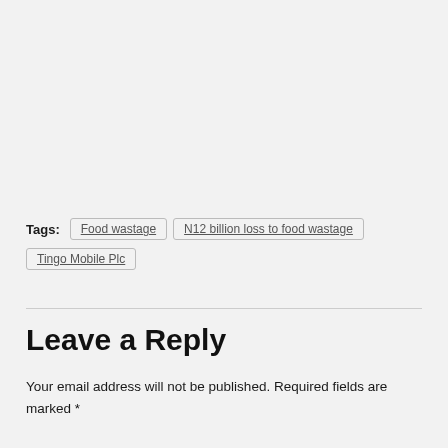Tags: Food wastage   N12 billion loss to food wastage   Tingo Mobile Plc
Leave a Reply
Your email address will not be published. Required fields are marked *